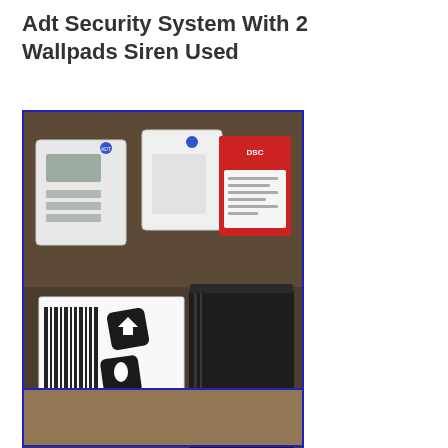Adt Security System With 2 Wallpads Siren Used
[Figure (photo): Photo of ADT security system components laid out on a dark cloth surface: two white keypad units, a red and white electronics box/siren in the back, a white paper with barcode and security stickers (CareTaker branding with fire/police/medical symbols), and a black plastic bag containing additional components. An eBay watermark is visible at the bottom center.]
[Figure (photo): Bottom portion of a second photo showing a brown/tan cloth or surface background.]